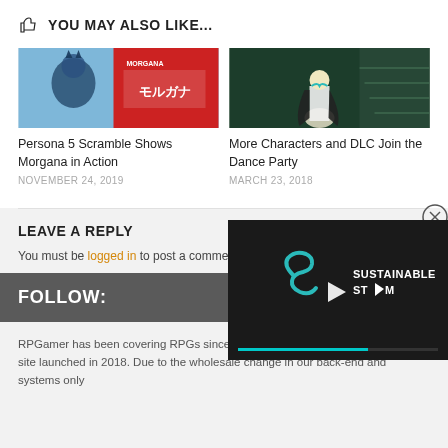YOU MAY ALSO LIKE...
[Figure (photo): Persona 5 Scramble - Morgana character promotional image with Japanese text on red background]
[Figure (photo): More Characters and DLC Join the Dance Party - blonde character in elegant attire on stairs]
Persona 5 Scramble Shows Morgana in Action
NOVEMBER 24, 2019
More Characters and DLC Join the Dance Party
MARCH 23, 2018
LEAVE A REPLY
You must be logged in to post a comment.
[Figure (screenshot): Sustainable Stream video player overlay with teal logo and play button]
FOLLOW:
RPGamer has been covering RPGs since 1998, with the current version of the site launched in 2018. Due to the wholesale change in our back-end and systems only